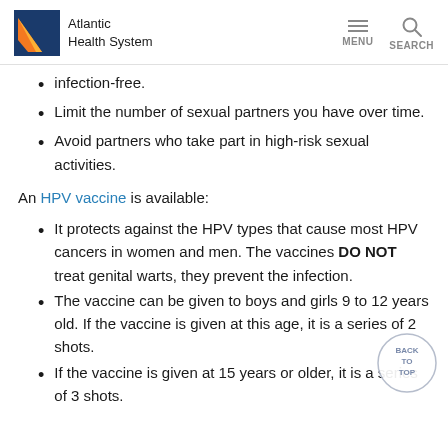Atlantic Health System | MENU SEARCH
infection-free.
Limit the number of sexual partners you have over time.
Avoid partners who take part in high-risk sexual activities.
An HPV vaccine is available:
It protects against the HPV types that cause most HPV cancers in women and men. The vaccines DO NOT treat genital warts, they prevent the infection.
The vaccine can be given to boys and girls 9 to 12 years old. If the vaccine is given at this age, it is a series of 2 shots.
If the vaccine is given at 15 years or older, it is a series of 3 shots.